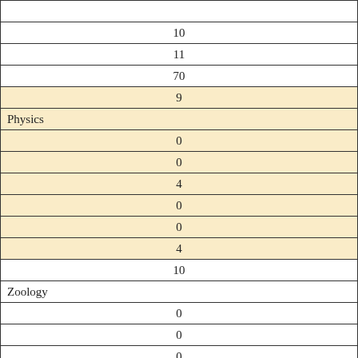| Value |
| --- |
| 10 |
| 11 |
| 70 |
| 9 |
| Physics |
| 0 |
| 0 |
| 4 |
| 0 |
| 0 |
| 4 |
| 10 |
| Zoology |
| 0 |
| 0 |
| 0 |
| 0 |
| 3 |